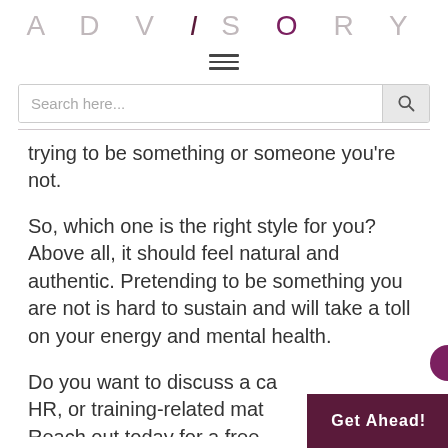ADVISORY
[Figure (other): Hamburger menu icon (three horizontal lines)]
Search here...
trying to be something or someone you're not.
So, which one is the right style for you? Above all, it should feel natural and authentic. Pretending to be something you are not is hard to sustain and will take a toll on your energy and mental health.
Do you want to discuss a ca... HR, or training-related mat... Reach out today for a free...
Get Ahead!